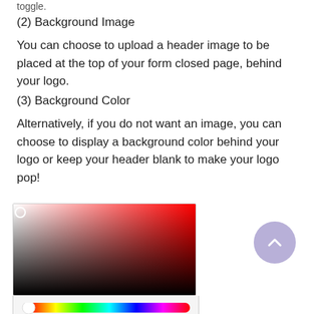toggle.
(2) Background Image
You can choose to upload a header image to be placed at the top of your form closed page, behind your logo.
(3) Background Color
Alternatively, if you do not want an image, you can choose to display a background color behind your logo or keep your header blank to make your logo pop!
[Figure (screenshot): Color picker widget showing a color gradient box (white to red to black), a small white circle handle in the top-left, and a rainbow hue slider bar at the bottom.]
[Figure (other): A round purple/lavender back-to-top button with an upward chevron arrow.]